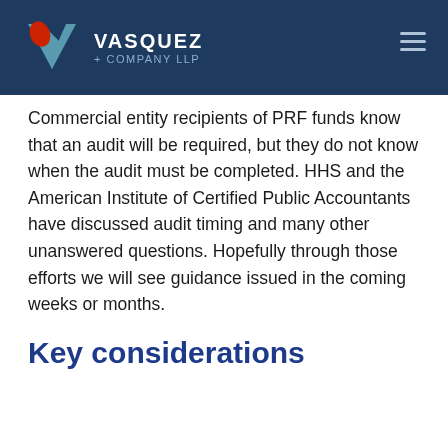VASQUEZ + COMPANY LLP
Commercial entity recipients of PRF funds know that an audit will be required, but they do not know when the audit must be completed. HHS and the American Institute of Certified Public Accountants have discussed audit timing and many other unanswered questions. Hopefully through those efforts we will see guidance issued in the coming weeks or months.
Key considerations